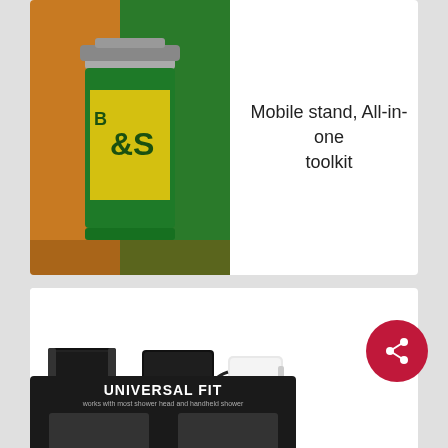[Figure (photo): Photo of a mobile stand all-in-one toolkit product showing a can opener/green can with an orange background]
Mobile stand, All-in-one toolkit
[Figure (photo): Photos of wire bin cable management boxes in black and white colors, shown alone and in a desk scene with a laptop, plant, and coffee cup]
Dump your wires in Wire Bin
[Figure (photo): Partial image showing a dark background with UNIVERSAL FIT text and product compatibility imagery]